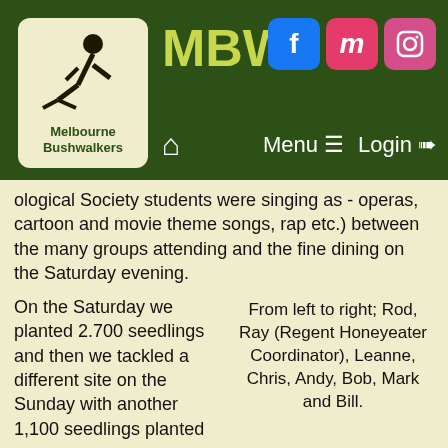MBW - Melbourne Bushwalkers
ological Society students were singing as - operas, cartoon and movie theme songs, rap etc.) between the many groups attending and the fine dining on the Saturday evening.
On the Saturday we planted 2.700 seedlings and then we tackled a different site on the Sunday with another 1,100 seedlings planted before stopping for our supplied BBQ lunch. In total, 3,800 seedlings were planted on two sites and a very satisfying contribution to this habitat recovery project.
From left to right; Rod, Ray (Regent Honeyeater Coordinator), Leanne, Chris, Andy, Bob, Mark and Bill.
After Sunday lunch Ray Thomas (project coordinator and Melb Rushio) gave a superb nature walk exploring